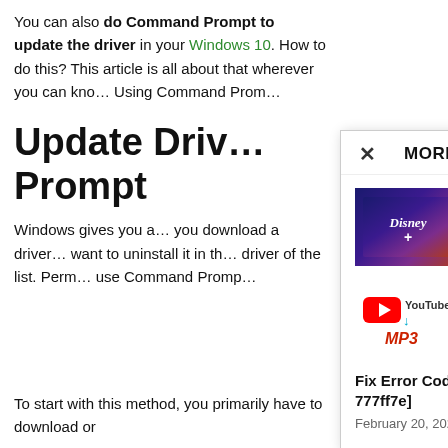You can also do Command Prompt to update the driver in your Windows 10. How to do this? This article is all about that wherever you can kno… Using Command Prom…
Update Driv… Prompt
Windows gives you a… you download a driver… want to uninstall it in th… driver of the list. Perm… use Command Promp…
To start with this method, you primarily have to download or
MORE STORIES
7 Best VPNs for Disney Plus in 2020
May 14, 2020
10 Free Sites Youtube to MP3 Video Converter
May 14, 2020
Fix Error Code [pii_email_a42277285fa777ff7e]
February 20, 2021